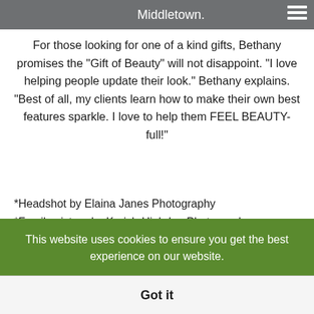Middletown.
For those looking for one of a kind gifts, Bethany promises the "Gift of Beauty" will not disappoint. “I love helping people update their look.” Bethany explains. “Best of all, my clients learn how to make their own best features sparkle. I love to help them FEEL BEAUTY-full!”
*Headshot by Elaina Janes Photography
*Family picture by Kreich-Highdon Photography
This website uses cookies to ensure you get the best experience on our website.
Got it